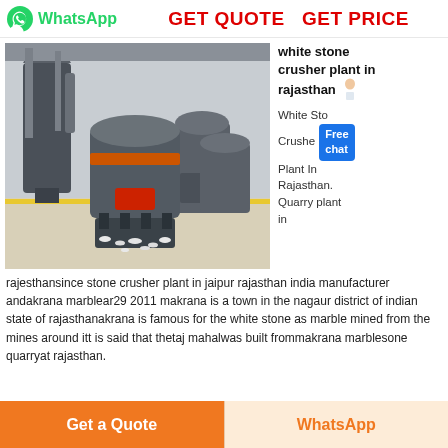WhatsApp  GET QUOTE  GET PRICE
[Figure (photo): Industrial stone crusher machine in a factory/warehouse setting with multiple large grey grinding machines on a white stone/marble floor.]
white stone crusher plant in rajasthan White Stone Crusher Plant In Rajasthan. Quarry plant in
rajesthansince stone crusher plant in jaipur rajasthan india manufacturer andakrana marblear29 2011 makrana is a town in the nagaur district of indian state of rajasthanakrana is famous for the white stone as marble mined from the mines around itt is said that thetaj mahalwas built frommakrana marblesone quarryat rajasthan.
Get a Quote   WhatsApp